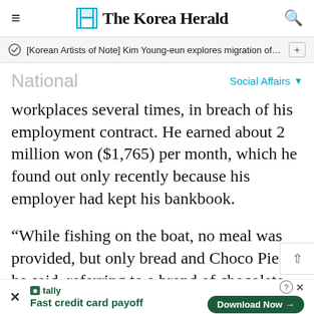The Korea Herald
[Korean Artists of Note] Kim Young-eun explores migration of sou…
National
Social Affairs
workplaces several times, in breach of his employment contract. He earned about 2 million won ($1,765) per month, which he found out only recently because his employer had kept his bankbook.
“While fishing on the boat, no meal was provided, but only bread and Choco Pies,” he said, referring to a brand of chocolate sna…
Fast credit card payoff
Download Now